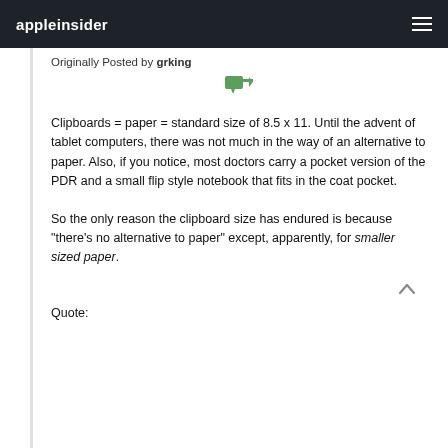appleinsider
Originally Posted by grking
[Figure (illustration): Green quote/reply icon arrow pointing right]
Clipboards = paper = standard size of 8.5 x 11. Until the advent of tablet computers, there was not much in the way of an alternative to paper. Also, if you notice, most doctors carry a pocket version of the PDR and a small flip style notebook that fits in the coat pocket.
So the only reason the clipboard size has endured is because "there's no alternative to paper" except, apparently, for smaller sized paper.
Quote: